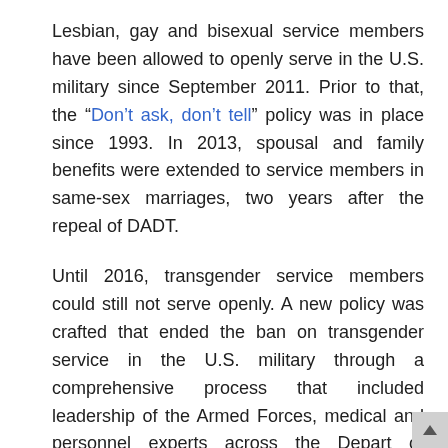Lesbian, gay and bisexual service members have been allowed to openly serve in the U.S. military since September 2011. Prior to that, the “Don’t ask, don’t tell” policy was in place since 1993. In 2013, spousal and family benefits were extended to service members in same-sex marriages, two years after the repeal of DADT.
Until 2016, transgender service members could still not serve openly. A new policy was crafted that ended the ban on transgender service in the U.S. military through a comprehensive process that included leadership of the Armed Forces, medical and personnel experts across the Depart of Defense, transgender service members, outside medical experts, advocacy groups and the RAND Corporation. They found that it was in the military’s best interest to recruit and retain the best troops,